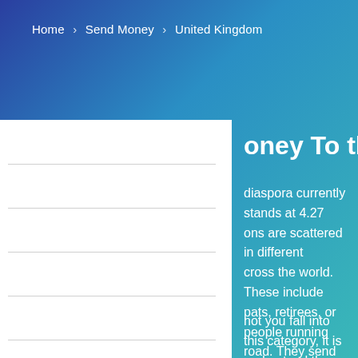Home > Send Money > United Kingdom
oney To the UK
diaspora currently stands at 4.27 ons are scattered in different cross the world. These include pats, retirees, or people running road. They send money back home invest in alternative assets, pay for nd much more. Sending money to atively safe due to banks and eing regulated by the Financial thority.
not you fall into this category, it is understand the different ways you